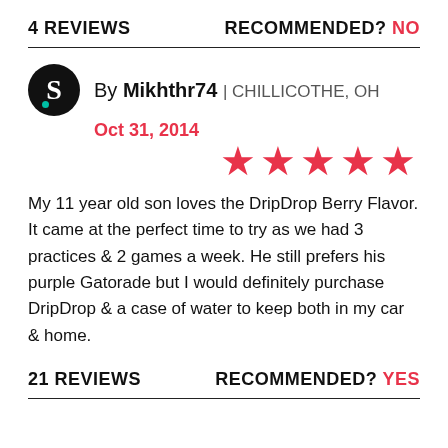4 REVIEWS    RECOMMENDED? NO
By Mikhthr74 | CHILLICOTHE, OH
Oct 31, 2014
★★★★★
My 11 year old son loves the DripDrop Berry Flavor. It came at the perfect time to try as we had 3 practices & 2 games a week. He still prefers his purple Gatorade but I would definitely purchase DripDrop & a case of water to keep both in my car & home.
21 REVIEWS    RECOMMENDED? YES